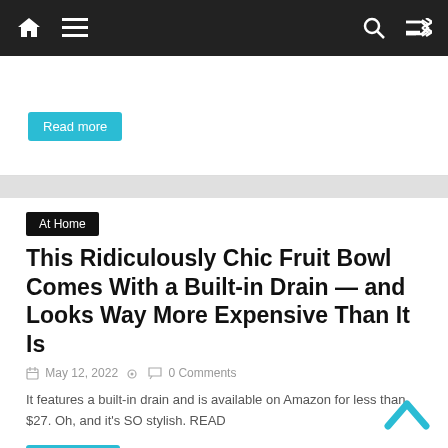Navigation bar with home, menu, search, and shuffle icons
Read more
At Home
This Ridiculously Chic Fruit Bowl Comes With a Built-in Drain — and Looks Way More Expensive Than It Is
May 12, 2022  0 Comments
It features a built-in drain and is available on Amazon for less than $27. Oh, and it's SO stylish. READ
Read more